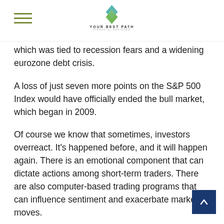YOUR BEST PATH
which was tied to recession fears and a widening eurozone debt crisis.
A loss of just seven more points on the S&P 500 Index would have officially ended the bull market, which began in 2009.
Of course we know that sometimes, investors overreact. It's happened before, and it will happen again. There is an emotional component that can dictate actions among short-term traders. There are also computer-based trading programs that can influence sentiment and exacerbate market moves.
Sometimes, excess euphoria breeds too much enthu... and stocks become overvalued, at least temporarily. We saw that in early 2018.